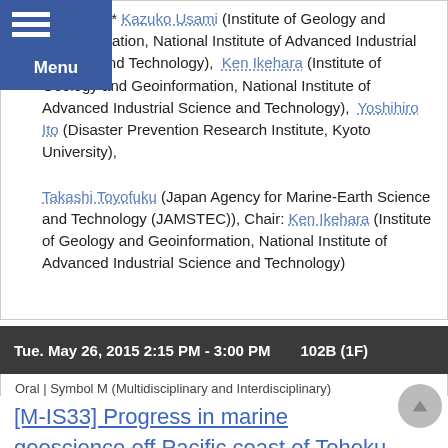Convener:* Kazuko Usami (Institute of Geology and Geoinformation, National Institute of Advanced Industrial Science and Technology), Ken Ikehara (Institute of Geology and Geoinformation, National Institute of Advanced Industrial Science and Technology), Yoshihiro Ito (Disaster Prevention Research Institute, Kyoto University), Takashi Toyofuku (Japan Agency for Marine-Earth Science and Technology (JAMSTEC)), Chair: Ken Ikehara (Institute of Geology and Geoinformation, National Institute of Advanced Industrial Science and Technology)
Tue. May 26, 2015 2:15 PM - 3:00 PM    102B (1F)
Oral | Symbol M (Multidisciplinary and Interdisciplinary) | M-IS Intersection
[M-IS33] Progress in marine geoscience off Pacific coast of Tohoku after the 2011 earthquake and tsunami